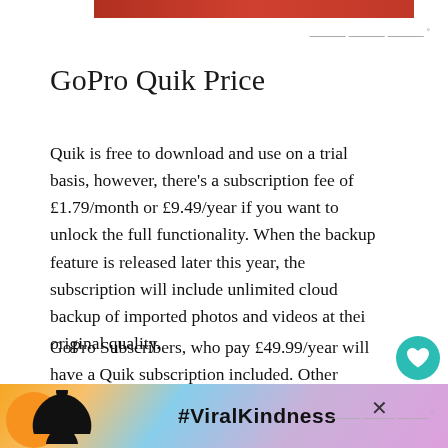[Figure (photo): Red/orange gradient image bar at the top of the page]
GoPro Quik Price
Quik is free to download and use on a trial basis, however, there's a subscription fee of £1.79/month or £9.49/year if you want to unlock the full functionality. When the backup feature is released later this year, the subscription will include unlimited cloud backup of imported photos and videos at thei original quality.
GoPro Subscribers, who pay £49.99/year will have a Quik subscription included. Other benefits of a GoPro subscription include:
[Figure (photo): Advertisement banner showing a person making a heart shape with hands against a sunset sky background, with #ViralKindness text]